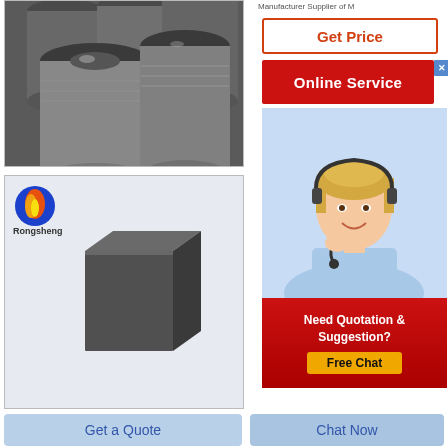Manufacturer Supplier of M
[Figure (photo): Gray cylindrical graphite electrodes with threaded nipple connections, industrial product photo]
[Figure (photo): Rongsheng brand logo with a dark gray rectangular graphite block on light background]
[Figure (infographic): Online Service widget with red bar, customer service agent woman with headset, Need Quotation & Suggestion? Free Chat button]
Get Price
Online Service
Need Quotation & Suggestion?
Free Chat
Get a Quote
Chat Now